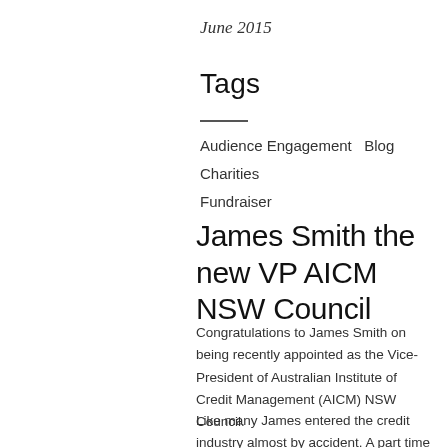June 2015
Tags
Audience Engagement   Blog   Charities   Fundraiser
James Smith the new VP AICM NSW Council
Congratulations to James Smith on being recently appointed as the Vice-President of Australian Institute of Credit Management (AICM) NSW Council.
Like many James entered the credit industry almost by accident. A part time job while studying in Brisbane has led to